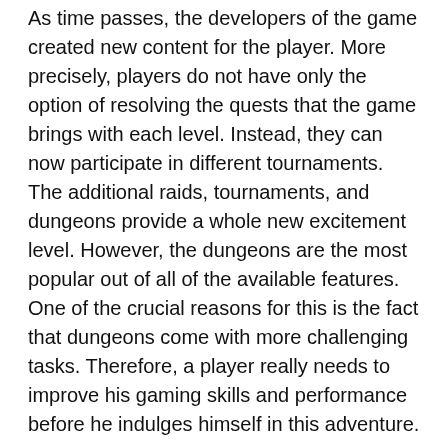As time passes, the developers of the game created new content for the player. More precisely, players do not have only the option of resolving the quests that the game brings with each level. Instead, they can now participate in different tournaments. The additional raids, tournaments, and dungeons provide a whole new excitement level. However, the dungeons are the most popular out of all of the available features. One of the crucial reasons for this is the fact that dungeons come with more challenging tasks. Therefore, a player really needs to improve his gaming skills and performance before he indulges himself in this adventure.
It is very important to put into consideration many factors before starting this adventure, so you will know what you need to do and understand the whole gaming process. Because of that, we decided to cover some tips that will help you improve your dungeon skills.